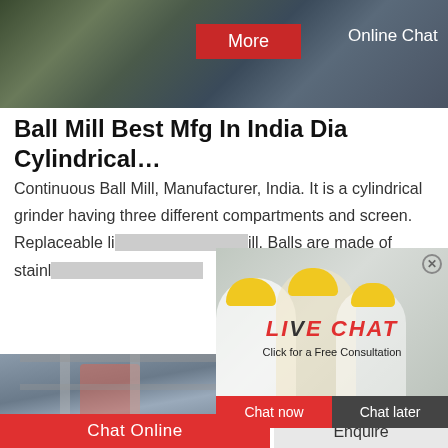[Figure (photo): Top banner image showing industrial machinery, belt conveyor and equipment at a factory site with green vegetation in background. Red 'More' button and 'Online Chat' text overlaid.]
Ball Mill Best Mfg In India Dia Cylindrical…
Continuous Ball Mill, Manufacturer, India. It is a cylindrical grinder having three different compartments and screen. Replaceable li... ill. Balls are made of stainl...
[Figure (photo): Live Chat popup overlay with workers in yellow hard hats in background. Shows 'LIVE CHAT' in red italic text, 'Click for a Free Consultation' subtitle, close X button, 'Chat now' red button and 'Chat later' dark button.]
[Figure (photo): Industrial machinery photo showing large cylindrical equipment (ball mill or similar) inside a factory with steel structure framework.]
[Figure (photo): Operator/customer service representative wearing headset, smiling, with 'Need questions & suggestion?' text and red 'Chat Now' button below.]
Chat Online
Enquire